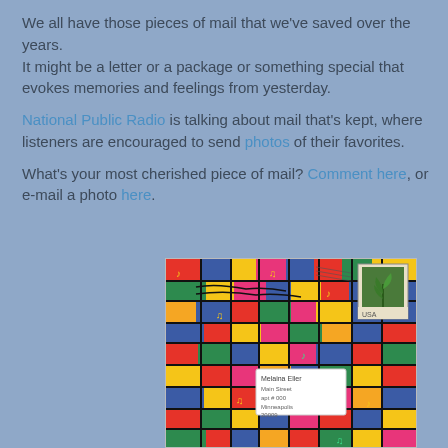We all have those pieces of mail that we've saved over the years.
It might be a letter or a package or something special that evokes memories and feelings from yesterday.

National Public Radio is talking about mail that's kept, where listeners are encouraged to send photos of their favorites.

What's your most cherished piece of mail? Comment here, or e-mail a photo here.
[Figure (photo): A colorful hand-decorated envelope with a patchwork of bright colors (red, blue, yellow, green, pink, orange, black), musical notes painted on it, a postage stamp in the upper right corner showing a plant, and an address label reading 'Melaina Eller' with an address in Minneapolis.]